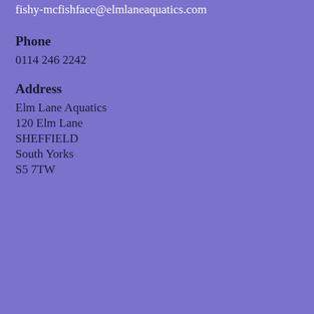fishy-mcfishface@elmlaneaquatics.com
Phone
0114 246 2242
Address
Elm Lane Aquatics
120 Elm Lane
SHEFFIELD
South Yorks
S5 7TW